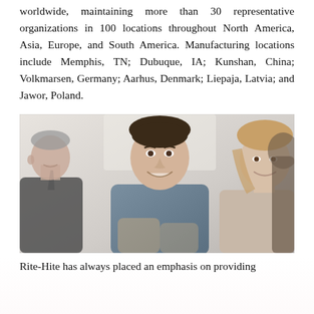worldwide, maintaining more than 30 representative organizations in 100 locations throughout North America, Asia, Europe, and South America. Manufacturing locations include Memphis, TN; Dubuque, IA; Kunshan, China; Volkmarsen, Germany; Aarhus, Denmark; Liepaja, Latvia; and Jawor, Poland.
[Figure (photo): Group of business professionals smiling, three people visible in a meeting or social setting]
Rite-Hite has always placed an emphasis on providing solutions that meet the needs of our customers, which has led to the ongoing creation of new products that pioneer the industry. This spirit of innovation and an emphasis on quality flourishes today throughout the entire organization.
In addition to manufacturing high-quality products, Rite-